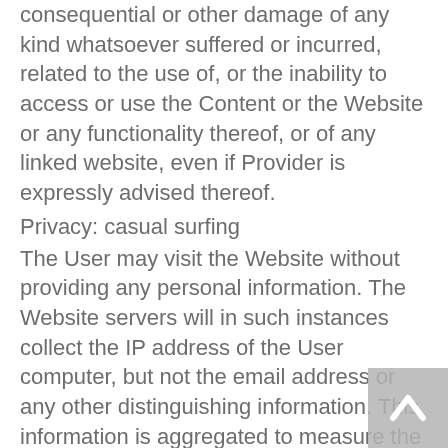consequential or other damage of any kind whatsoever suffered or incurred, related to the use of, or the inability to access or use the Content or the Website or any functionality thereof, or of any linked website, even if Provider is expressly advised thereof.
Privacy: casual surfing
The User may visit the Website without providing any personal information. The Website servers will in such instances collect the IP address of the User computer, but not the email address or any other distinguishing information. This information is aggregated to measure the number of visits, average time spent at the Website, pages viewed, etc. Provider uses this information to determine use of the Website, and to improve Content thereon. Provider assumes no obligation to protect this information, and may copy, distribute or otherwise use such information without